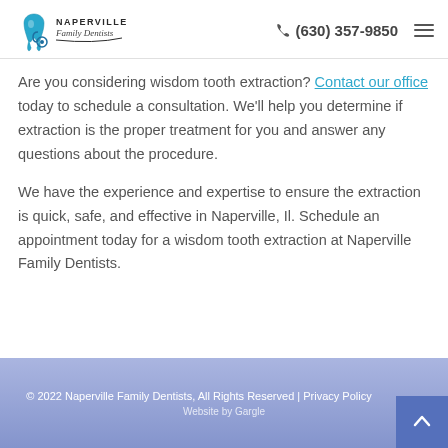Naperville Family Dentists | (630) 357-9850
Are you considering wisdom tooth extraction? Contact our office today to schedule a consultation. We'll help you determine if extraction is the proper treatment for you and answer any questions about the procedure.
We have the experience and expertise to ensure the extraction is quick, safe, and effective in Naperville, Il. Schedule an appointment today for a wisdom tooth extraction at Naperville Family Dentists.
© 2022 Naperville Family Dentists, All Rights Reserved | Privacy Policy
Website by Gargle